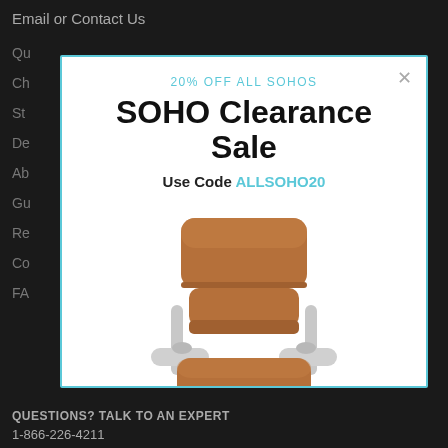Email or Contact Us
Qu
Ch
St
De
Ab
Gu
Re
Co
FA
20% OFF ALL SOHOS
SOHO Clearance Sale
Use Code ALLSOHO20
[Figure (photo): Brown leather office chair with chrome armrests and black base with wheels]
QUESTIONS? TALK TO AN EXPERT
1-866-226-4211